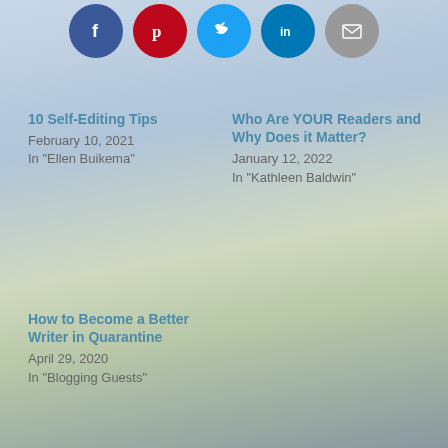[Figure (other): Row of social share buttons: Facebook (dark blue circle with f), Pinterest (red circle with P), Twitter (light blue circle with bird), LinkedIn (blue circle with in), Email (gray circle with envelope)]
10 Self-Editing Tips
February 10, 2021
In "Ellen Buikema"
Who Are YOUR Readers and Why Does it Matter?
January 12, 2022
In "Kathleen Baldwin"
How to Become a Better Writer in Quarantine
April 29, 2020
In "Blogging Guests"
28 comments on “A Case for WAS: The Much-Maligned Passive Voice”
V.M.Sang
October 29, 2021 at 1:29 am